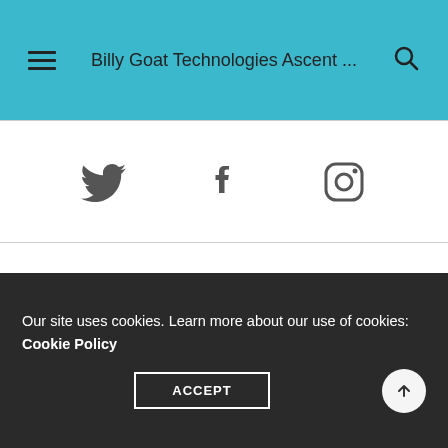Billy Goat Technologies Ascent ...
[Figure (infographic): Social media icons: Twitter bird icon, Facebook 'f' icon, and Instagram camera outline icon, displayed horizontally centered on white background]
Our site uses cookies. Learn more about our use of cookies: Cookie Policy ACCEPT